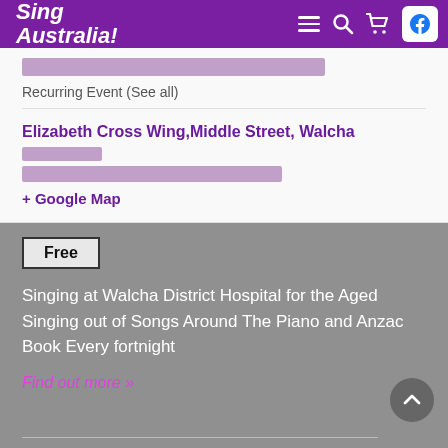Sing Australia!
Recurring Event (See all)
Elizabeth Cross Wing,Middle Street, Walcha
+ Google Map
Free
Singing at Walcha District Hospital for the Aged Singing out of Songs Around The Piano and Anzac Book Every fortnight
Find out more »